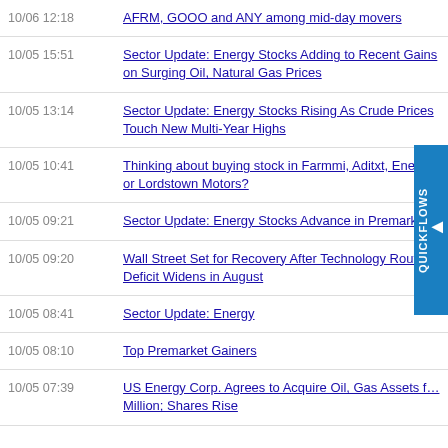10/06 12:18 | AFRM, GOOO and ANY among mid-day movers
10/05 15:51 | Sector Update: Energy Stocks Adding to Recent Gains on Surging Oil, Natural Gas Prices
10/05 13:14 | Sector Update: Energy Stocks Rising As Crude Prices Touch New Multi-Year Highs
10/05 10:41 | Thinking about buying stock in Farmmi, Aditxt, Energy, or Lordstown Motors?
10/05 09:21 | Sector Update: Energy Stocks Advance in Premarket
10/05 09:20 | Wall Street Set for Recovery After Technology Rout; Deficit Widens in August
10/05 08:41 | Sector Update: Energy
10/05 08:10 | Top Premarket Gainers
10/05 07:39 | US Energy Corp. Agrees to Acquire Oil, Gas Assets for Million; Shares Rise